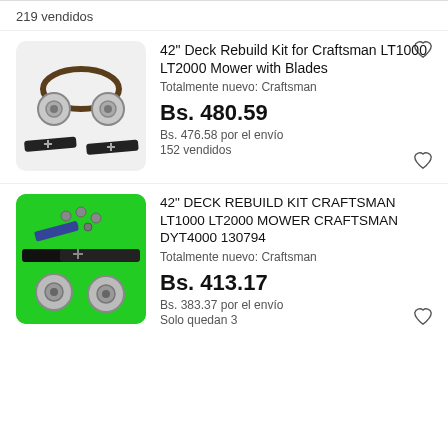219 vendidos
[Figure (photo): Product photo of a 42 inch deck rebuild kit with belts, pulleys, spindles and blades on white background]
42" Deck Rebuild Kit for Craftsman LT1000 LT2000 Mower with Blades
Totalmente nuevo: Craftsman
Bs. 480.59
Bs. 476.58 por el envío
152 vendidos
[Figure (photo): Product photo of a 42 inch deck rebuild kit with blades and pulleys on green background]
42" DECK REBUILD KIT CRAFTSMAN LT1000 LT2000 MOWER CRAFTSMAN DYT4000 130794
Totalmente nuevo: Craftsman
Bs. 413.17
Bs. 383.37 por el envío
Solo quedan 3